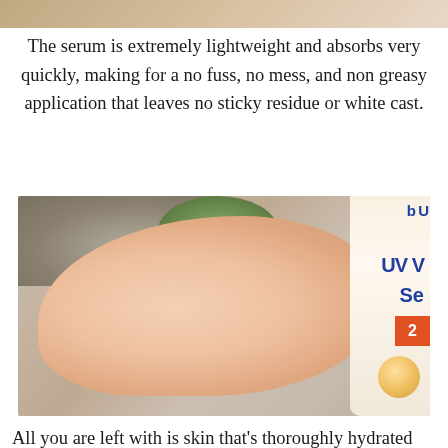[Figure (photo): Partial top edge of a photo showing skin/arm tone at the very top of the page]
The serum is extremely lightweight and absorbs very quickly, making for a no fuss, no mess, and non greasy application that leaves no sticky residue or white cast.
[Figure (photo): Close-up photo of a hand applying sunscreen serum on an arm/skin, with a UV serum bottle visible on the right side, yarn and plant in background, on a blue surface]
All you are left with is skin that's thoroughly hydrated and